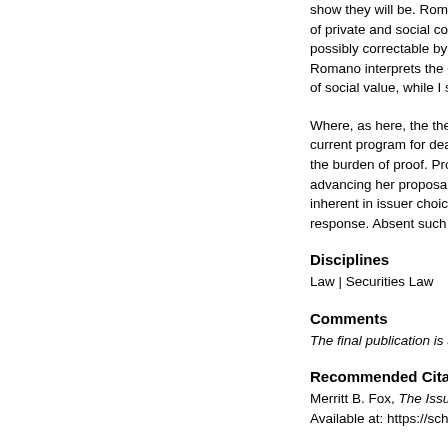show they will be. Romano argues of private and social costs that possibly correctable by public m Romano interprets the existing of social value, while I show tha
Where, as here, the theoretical current program for dealing with the burden of proof. Professor advancing her proposal for issu inherent in issuer choice, there response. Absent such a showin
Disciplines
Law | Securities Law
Comments
The final publication is available
Recommended Citation
Merritt B. Fox, The Issuer Choice D Available at: https://scholarship.la